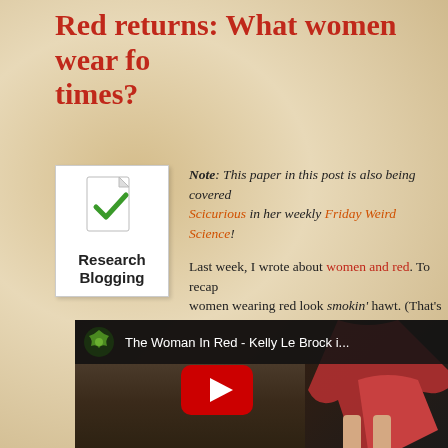Red returns: What women wear fo times?
[Figure (logo): Research Blogging logo: document icon with green checkmark and text 'Research Blogging']
Note: This paper in this post is also being covered Scicurious in her weekly Friday Weird Science!
Last week, I wrote about women and red. To recap women wearing red look smokin' hawt. (That's the
[Figure (screenshot): YouTube video thumbnail for 'The Woman In Red - Kelly Le Brock i...' showing a woman in a red dress with legs visible and red heels, with a YouTube play button overlay]